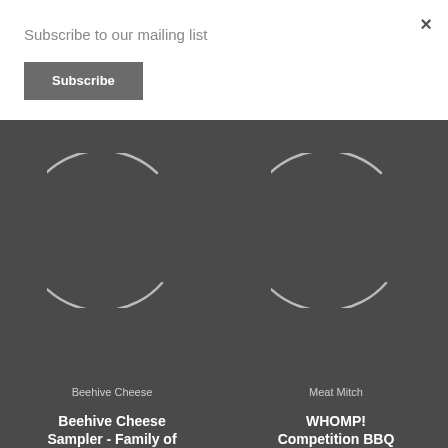Subscribe to our mailing list
Subscribe
×
[Figure (illustration): Loading spinner / circular arc icon for Beehive Cheese product card on dark background]
Beehive Cheese
Beehive Cheese Sampler - Family of
[Figure (illustration): Loading spinner / circular arc icon for Meat Mitch product card on dark background]
Meat Mitch
WHOMP! Competition BBQ